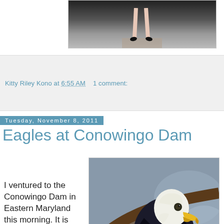[Figure (photo): Partial view of a dancer or performer on a stage, showing legs and feet with dark background]
Kitty Riley Kono at 6:55 AM    1 comment:
Tuesday, November 8, 2011
Eagles at Conowingo Dam
[Figure (photo): Close-up photo of a Bald Eagle perched on a tree branch, showing white head, yellow beak, and dark body feathers]
I ventured to the Conowingo Dam in Eastern Maryland this morning. It is one of the best places in the United States to observe Bald